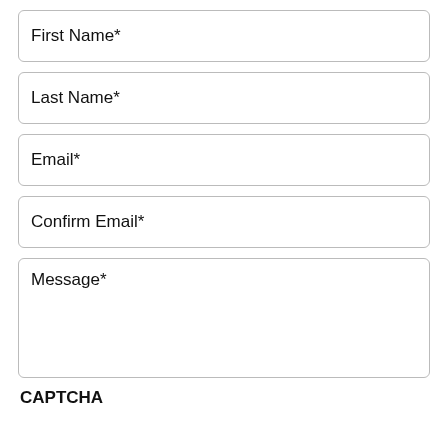First Name*
Last Name*
Email*
Confirm Email*
Message*
CAPTCHA